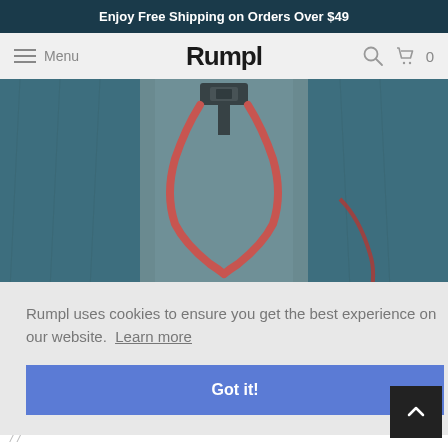Enjoy Free Shipping on Orders Over $49
Menu  Rumpl  [search icon] [cart icon] 0
[Figure (photo): Close-up photo of a blue sleeping bag or outdoor blanket with a red trim/drawstring detail and a black buckle clasp at the top center.]
Rumpl uses cookies to ensure you get the best experience on our website.  Learn more
Got it!